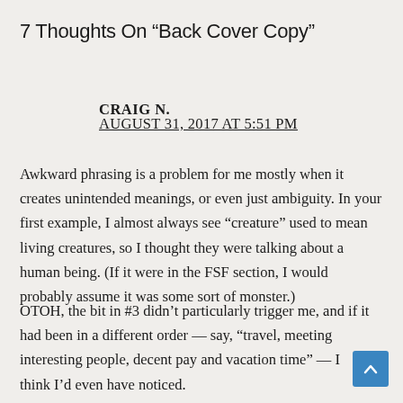7 Thoughts On “Back Cover Copy”
CRAIG N.
AUGUST 31, 2017 AT 5:51 PM
Awkward phrasing is a problem for me mostly when it creates unintended meanings, or even just ambiguity. In your first example, I almost always see “creature” used to mean living creatures, so I thought they were talking about a human being. (If it were in the FSF section, I would probably assume it was some sort of monster.)
OTOH, the bit in #3 didn’t particularly trigger me, and if it had been in a different order — say, “travel, meeting interesting people, decent pay and vacation time” — I don’t think I’d even have noticed.